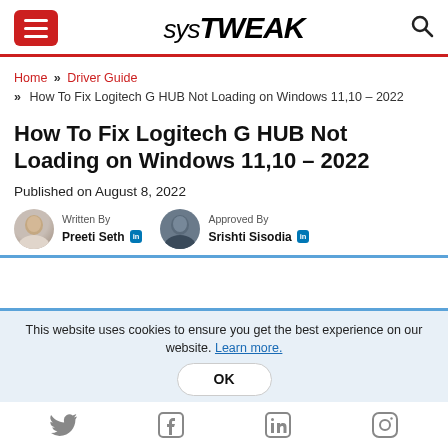sysTweak
Home » Driver Guide » How To Fix Logitech G HUB Not Loading on Windows 11,10 – 2022
How To Fix Logitech G HUB Not Loading on Windows 11,10 – 2022
Published on August 8, 2022
Written By Preeti Seth | Approved By Srishti Sisodia
This website uses cookies to ensure you get the best experience on our website. Learn more.